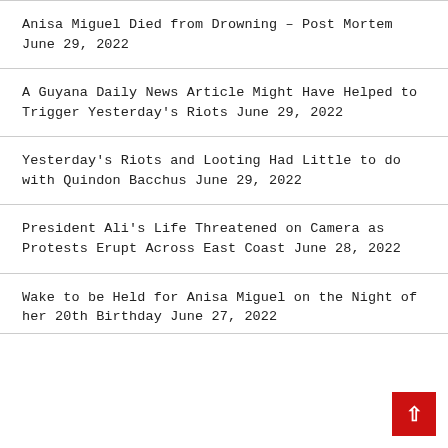Anisa Miguel Died from Drowning – Post Mortem June 29, 2022
A Guyana Daily News Article Might Have Helped to Trigger Yesterday's Riots June 29, 2022
Yesterday's Riots and Looting Had Little to do with Quindon Bacchus June 29, 2022
President Ali's Life Threatened on Camera as Protests Erupt Across East Coast June 28, 2022
Wake to be Held for Anisa Miguel on the Night of her 20th Birthday June 27, 2022